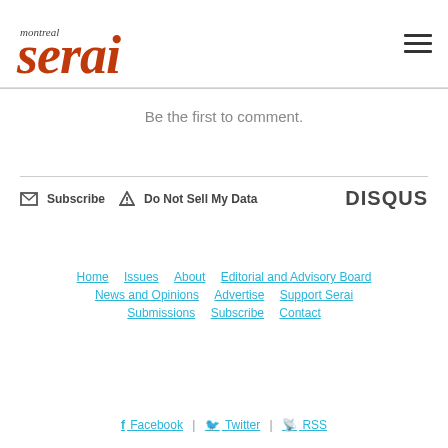[Figure (logo): Montreal Serai logo with 'montreal' in small italic text and 'serai' in large rust/orange italic font]
Be the first to comment.
Subscribe  Do Not Sell My Data  DISQUS
Home  Issues  About  Editorial and Advisory Board  News and Opinions  Advertise  Support Serai  Submissions  Subscribe  Contact
Facebook | Twitter | RSS